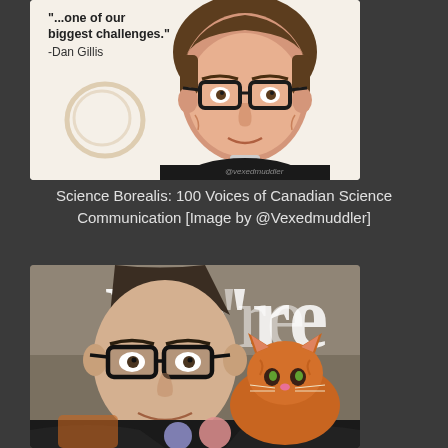[Figure (illustration): Cartoon/illustrated portrait of a man with glasses wearing a black shirt, with text 'biggest challenges.' -Dan Gillis and coffee ring stains visible. Attribution @vexedmuddler at bottom right.]
Science Borealis: 100 Voices of Canadian Science Communication [Image by @Vexedmuddler]
[Figure (photo): Selfie photo of a man with glasses and short dark hair smiling, with an orange cat resting on his shoulder. The word 'We're' is overlaid in large text. Two colored circles (purple and pink) are visible at the bottom.]